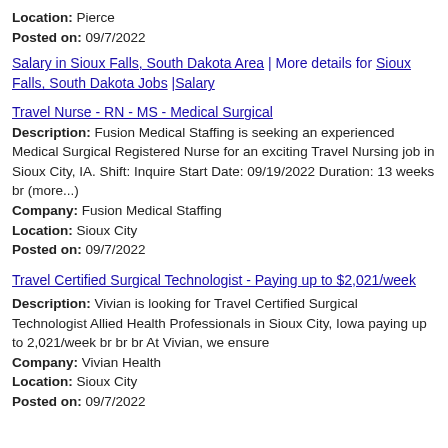Location: Pierce
Posted on: 09/7/2022
Salary in Sioux Falls, South Dakota Area | More details for Sioux Falls, South Dakota Jobs |Salary
Travel Nurse - RN - MS - Medical Surgical
Description: Fusion Medical Staffing is seeking an experienced Medical Surgical Registered Nurse for an exciting Travel Nursing job in Sioux City, IA. Shift: Inquire Start Date: 09/19/2022 Duration: 13 weeks br (more...)
Company: Fusion Medical Staffing
Location: Sioux City
Posted on: 09/7/2022
Travel Certified Surgical Technologist - Paying up to $2,021/week
Description: Vivian is looking for Travel Certified Surgical Technologist Allied Health Professionals in Sioux City, Iowa paying up to 2,021/week br br br At Vivian, we ensure
Company: Vivian Health
Location: Sioux City
Posted on: 09/7/2022